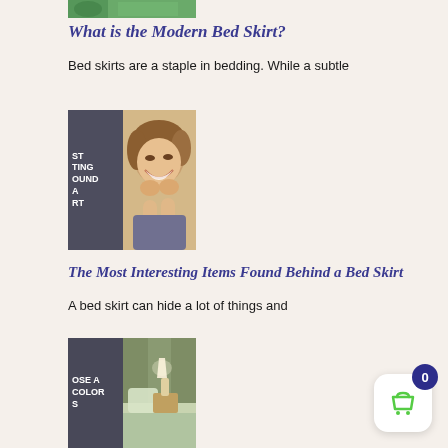[Figure (photo): Cropped top portion of a nature/green themed image]
What is the Modern Bed Skirt?
Bed skirts are a staple in bedding. While a subtle
[Figure (photo): A smiling child lying on a bed, with text overlay reading 'ST TING OUND A RT' on the left side]
The Most Interesting Items Found Behind a Bed Skirt
A bed skirt can hide a lot of things and
[Figure (photo): A bedroom scene with a lamp on a nightstand and olive/green curtains, with text overlay reading 'OSE A COLOR S']